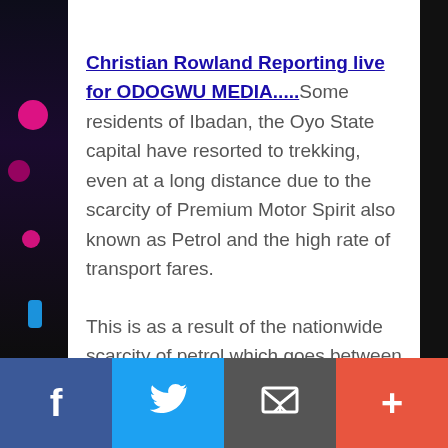Christian Rowland Reporting live for ODOGWU MEDIA.....Some residents of Ibadan, the Oyo State capital have resorted to trekking, even at a long distance due to the scarcity of Premium Motor Spirit also known as Petrol and the high rate of transport fares.
This is as a result of the nationwide scarcity of petrol which goes between N150 and 250 in some parts of the ancient city.